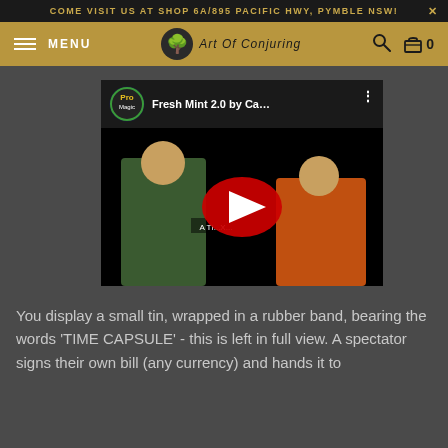COME VISIT US AT SHOP 6A/895 PACIFIC HWY, PYMBLE NSW!
[Figure (screenshot): Navigation bar with hamburger menu, MENU label, Art Of Conjuring logo with tree icon, search icon, and cart icon with count 0]
[Figure (screenshot): YouTube video embed showing 'Fresh Mint 2.0 by Ca...' with Pro Magic channel logo, a video thumbnail with a red YouTube play button over two people, and a three-dot menu icon]
You display a small tin, wrapped in a rubber band, bearing the words 'TIME CAPSULE' - this is left in full view. A spectator signs their own bill (any currency) and hands it to